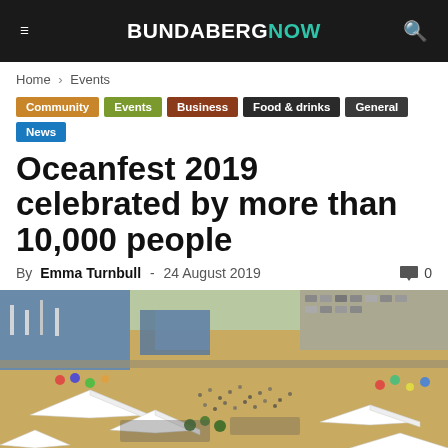BUNDABERGNOW
Home › Events
Community
Events
Business
Food & drinks
General
News
Oceanfest 2019 celebrated by more than 10,000 people
By Emma Turnbull - 24 August 2019  0
[Figure (photo): Aerial view of Oceanfest 2019 festival grounds showing crowds, white marquee tents, boats, cars, and open sandy area taken from above]